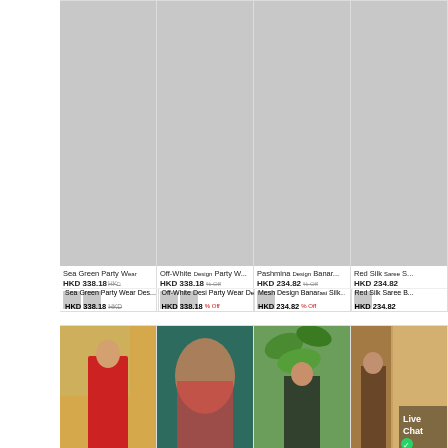[Figure (screenshot): E-commerce product listing page showing fashion items in a grid layout. Top row has 4 product cards with grey placeholder images for clothing items (Sea Green Party Wear, Off-White Designer Party Wear, Pashmina Designer wear, and Red Silk Saree). Each card shows product name, current price in HKD, original price crossed out, and discount percentage. Bottom row shows 4 products with actual photographs of red dress, green background, outdoor, and interior styled fashion images. A Live Chat button with WhatsApp icon appears in the bottom right.]
Sea Green Party Wear
HKD 338.18
Off-White Designer Party Wear
HKD 338.18
Pashmina Designer Banarasi Silk
HKD 234.82
Red Silk Saree
HKD 234.82